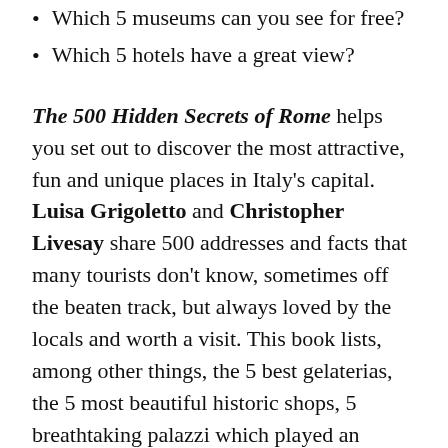Which 5 museums can you see for free?
Which 5 hotels have a great view?
The 500 Hidden Secrets of Rome helps you set out to discover the most attractive, fun and unique places in Italy’s capital. Luisa Grigoletto and Christopher Livesay share 500 addresses and facts that many tourists don’t know, sometimes off the beaten track, but always loved by the locals and worth a visit. This book lists, among other things, the 5 best gelaterias, the 5 most beautiful historic shops, 5 breathtaking palazzi which played an important role in art history and 5 sites where major Italian films were shot.
A perfect guide for tourists who want to avoid the well-known spots and for residents who want to get to know their city even better. 500 addresses and facts in total, presented in original lists of 5. Maps & index included.